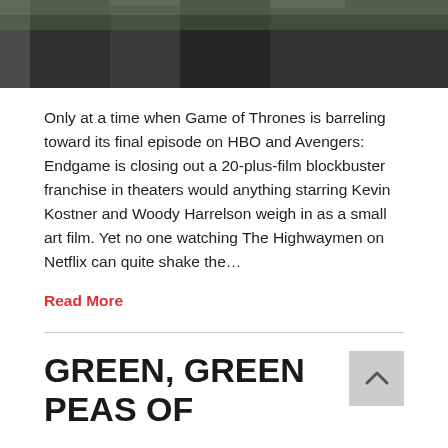[Figure (photo): Cropped photo of people (likely actors) in dark suits/coats outdoors, showing torsos and lower bodies only]
Only at a time when Game of Thrones is barreling toward its final episode on HBO and Avengers: Endgame is closing out a 20-plus-film blockbuster franchise in theaters would anything starring Kevin Kostner and Woody Harrelson weigh in as a small art film. Yet no one watching The Highwaymen on Netflix can quite shake the...
Read More
GREEN, GREEN PEAS OF